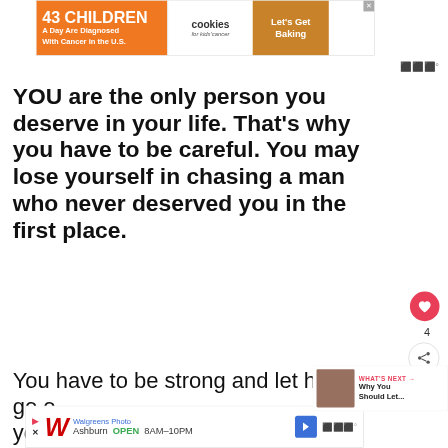[Figure (screenshot): Advertisement banner: 43 CHILDREN A Day Are Diagnosed With Cancer in the U.S. - Cookies for kids cancer - Let's Get Baking]
YOU are the only person you deserve in your life. That's why you have to be careful. You may lose yourself in chasing a man who never deserved you in the first place.
You have to be strong and let him go or you'll be left with another heartb... Respect yourself enough to know when to...
[Figure (screenshot): Walgreens Photo advertisement banner: Ashburn OPEN 8AM-10PM]